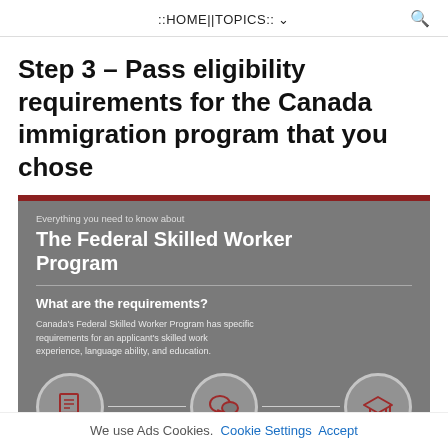::HOME||TOPICS:: ∨
Step 3 – Pass eligibility requirements for the Canada immigration program that you chose
[Figure (infographic): Infographic about The Federal Skilled Worker Program. Subtitle: 'Everything you need to know about'. Title: 'The Federal Skilled Worker Program'. Section: 'What are the requirements?' with body text: "Canada's Federal Skilled Worker Program has specific requirements for an applicant's skilled work experience, language ability, and education." Three icons shown at bottom connected by a line: a document/newspaper icon, a speech bubble icon, and a graduation cap icon.]
We use Ads Cookies.  Cookie Settings  Accept